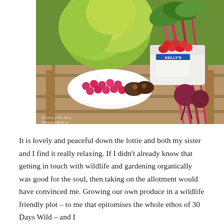[Figure (photo): A wooden garden chair/table holding a white plate with raspberries and chocolate muffins, a container of strawberries, a tub of Kelly's ice cream, a large head of lettuce, and fresh beetroot with pink stems, set against a green grassy background.]
It is lovely and peaceful down the lottie and both my sister and I find it really relaxing. If I didn't already know that getting in touch with wildlife and gardening organically was good for the soul, then taking on the allotment would have convinced me. Growing our own produce in a wildlife friendly plot – to me that epitomises the whole ethos of 30 Days Wild – and I